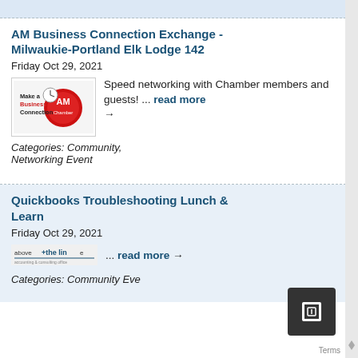AM Business Connection Exchange - Milwaukie-Portland Elk Lodge 142
Friday Oct 29, 2021
Speed networking with Chamber members and guests! ... read more →
Categories: Community, Networking Event
Quickbooks Troubleshooting Lunch & Learn
Friday Oct 29, 2021
... read more →
Categories: Community Event